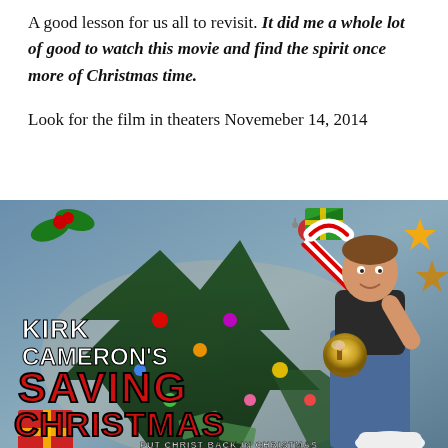A good lesson for us all to revisit. It did me a whole lot of good to watch this movie and find the spirit once more of Christmas time.
Look for the film in theaters Novemeber 14, 2014
[Figure (photo): Movie poster for Kirk Cameron's Saving Christmas featuring Kirk Cameron holding a candy cane in front of a Christmas tree with ornaments and holiday decorations flying around. The text reads 'KIRK CAMERON'S SAVING CHRISTMAS' with tagline 'PUT CHRIST BACK IN CHRISTMAS'. He holds a glowing snow globe with a nativity scene.]